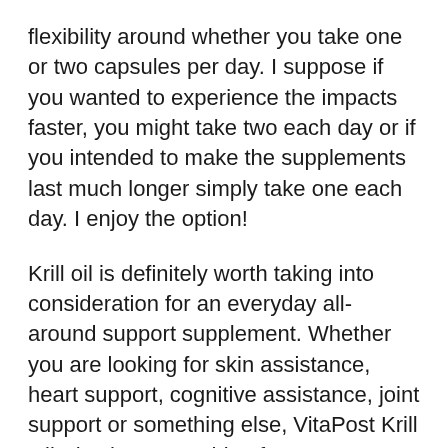flexibility around whether you take one or two capsules per day. I suppose if you wanted to experience the impacts faster, you might take two each day or if you intended to make the supplements last much longer simply take one each day. I enjoy the option!
Krill oil is definitely worth taking into consideration for an everyday all-around support supplement. Whether you are looking for skin assistance, heart support, cognitive assistance, joint support or something else, VitaPost Krill Oil Plus has something for every person.
Please note: Products claims made throughout this article have actually not been assessed by the United.